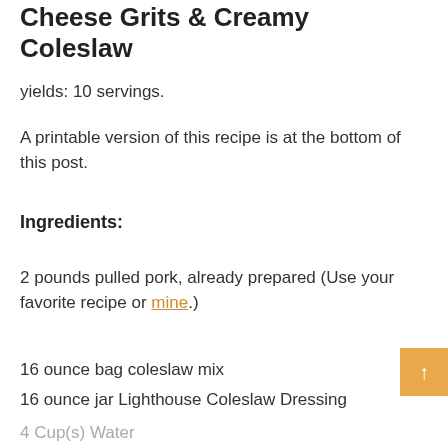Southern Pulled Pork Shooters with Cheese Grits & Creamy Coleslaw
yields: 10 servings.
A printable version of this recipe is at the bottom of this post.
Ingredients:
2 pounds pulled pork, already prepared (Use your favorite recipe or mine.)
16 ounce bag coleslaw mix
16 ounce jar Lighthouse Coleslaw Dressing
4 Cup(s) Water